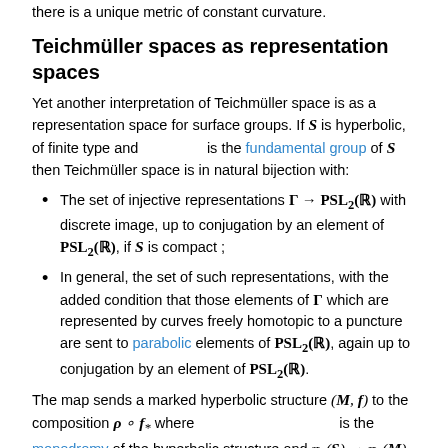there is a unique metric of constant curvature.
Teichmüller spaces as representation spaces
Yet another interpretation of Teichmüller space is as a representation space for surface groups. If S is hyperbolic, of finite type and [pi_1(S)] is the fundamental group of S then Teichmüller space is in natural bijection with:
The set of injective representations Γ → PSL₂(ℝ) with discrete image, up to conjugation by an element of PSL₂(ℝ), if S is compact ;
In general, the set of such representations, with the added condition that those elements of Γ which are represented by curves freely homotopic to a puncture are sent to parabolic elements of PSL₂(ℝ), again up to conjugation by an element of PSL₂(ℝ).
The map sends a marked hyperbolic structure (M, f) to the composition ρ ∘ f_* where [pi_1(S,x)→pi_1(M,f(x))] is the monodromy of the hyperbolic structure and π₁(S) → π₁(M) is the isomorphism induced by f.
Note that this realises T(S) as a closed subset of